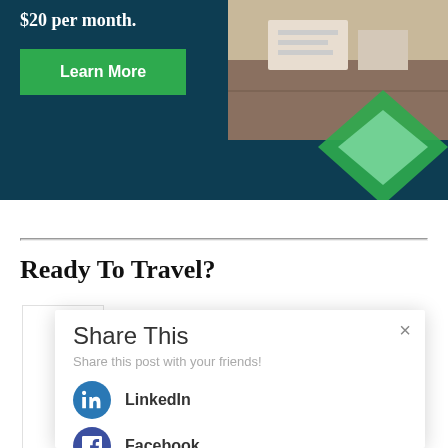[Figure (illustration): Dark teal banner with '$20 per month.' text, a green 'Learn More' button, photo of papers/items in upper right, and green geometric diamond shape decoration]
Ready To Travel?
Share This
Share this post with your friends!
LinkedIn
Facebook